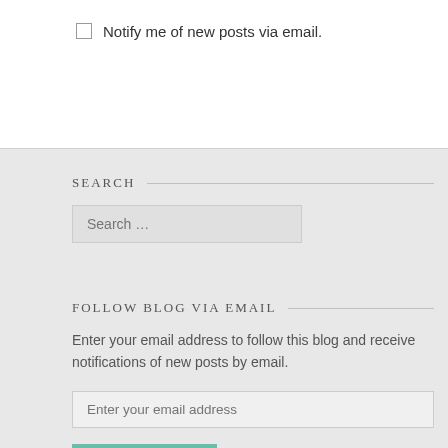Notify me of new posts via email.
SEARCH
Search …
FOLLOW BLOG VIA EMAIL
Enter your email address to follow this blog and receive notifications of new posts by email.
Enter your email address
FOLLOW